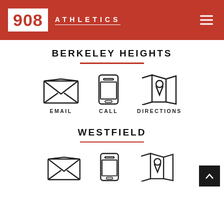908 ATHLETICS
BERKELEY HEIGHTS
[Figure (illustration): Three icons in a row: envelope (EMAIL), smartphone (CALL), map pin on map (DIRECTIONS)]
WESTFIELD
[Figure (illustration): Three icons in a row: envelope, smartphone, map pin on map — partial view at bottom]